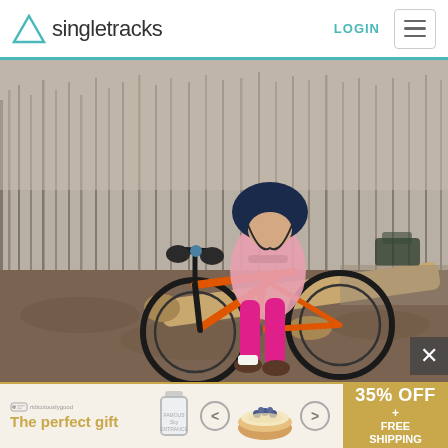Singletracks | LOGIN
[Figure (photo): A young girl wearing a pink jacket, pink leggings, dark helmet and gloves riding an orange mountain bike over a log obstacle on a dirt trail. Bare trees visible in background. Cars parked on right side.]
[Figure (infographic): Advertisement banner: 'The perfect gift' with product images of what appears to be a glass jar/tumbler and a bowl of food, navigation arrows, and '35% OFF + FREE SHIPPING' on a gold background.]